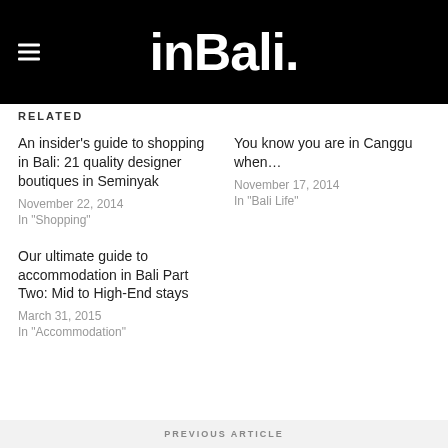[Figure (logo): inBali. logo in white text on black background with hamburger menu icon]
RELATED
An insider's guide to shopping in Bali: 21 quality designer boutiques in Seminyak
November 22, 2014
In "Shopping"
You know you are in Canggu when…
November 17, 2014
In "Bali Life"
Our ultimate guide to accommodation in Bali Part Two: Mid to High-End stays
March 31, 2015
In "Accommodation"
PREVIOUS ARTICLE